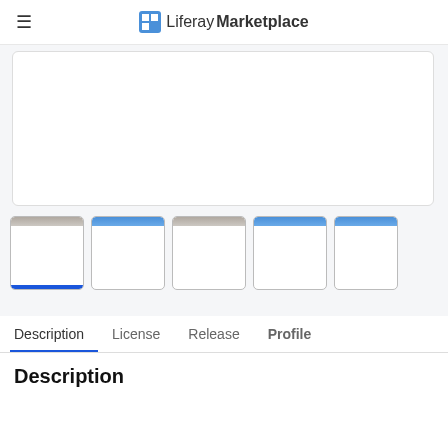Liferay Marketplace
[Figure (screenshot): Main product image area - large white box with rounded corners on light gray background]
[Figure (screenshot): Row of 5 thumbnail images with blue top/bottom accent bars on light gray background]
Description   License   Release   Profile
Description